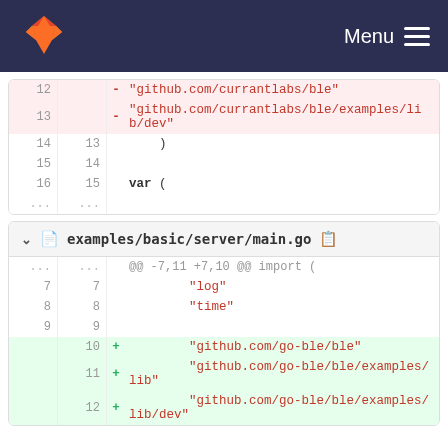GitLab navigation bar with logo and Menu
[Figure (screenshot): Top diff panel showing deleted lines 12-13 with github.com/currantlabs/ble imports, and context lines 14-16 with ) and var (]
[Figure (screenshot): Bottom diff panel for examples/basic/server/main.go showing hunk @@ -7,11 +7,10 @@ import (, context lines 7-9 with log time imports, added lines 10-12 with github.com/go-ble/ble imports]